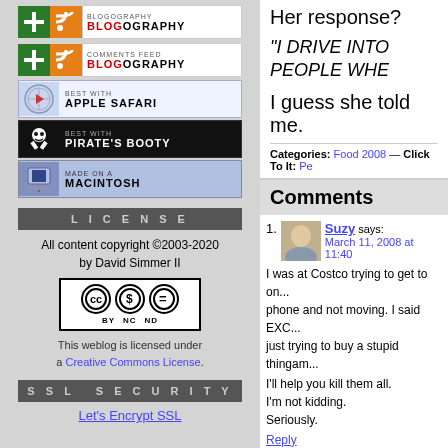[Figure (logo): Blogography feed badge with green plus and orange RSS icons]
[Figure (logo): Comments Feed Blogography badge with green plus and orange RSS icons]
[Figure (logo): Best with Apple Safari badge]
[Figure (logo): Best with Pirate's Booty badge]
[Figure (logo): Made on a Macintosh badge]
LICENSE
All content copyright ©2003-2020 by David Simmer II
[Figure (logo): Creative Commons BY NC ND license badge]
This weblog is licensed under a Creative Commons License.
SSL SECURITY
Let's Encrypt SSL
Her response?
"I DRIVE INTO PEOPLE WHE...
I guess she told me.
Categories: Food 2008 — Click To It: Pe...
Comments
1. Suzy says: March 11, 2008 at 11:40
I was at Costco trying to get to on... phone and not moving. I said EXC... just trying to buy a stupid thingam...
I'll help you kill them all.
I'm not kidding.
Seriously.
Reply
2. Kyra Sutra says: March 12, 2008 at 12:03
Fucking hag! LOLOLOLOLOL!!!!!!